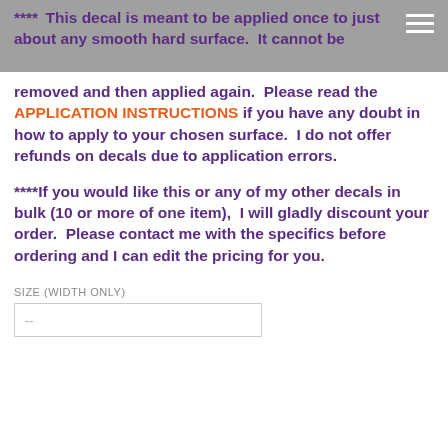****This decal is meant to be applied once to just about any smooth hard surface.  It cannot be
removed and then applied again.  Please read the APPLICATION INSTRUCTIONS if you have any doubt in how to apply to your chosen surface.  I do not offer refunds on decals due to application errors.
****If you would like this or any of my other decals in bulk (10 or more of one item),  I will gladly discount your order.  Please contact me with the specifics before ordering and I can edit the pricing for you.
SIZE (WIDTH ONLY)